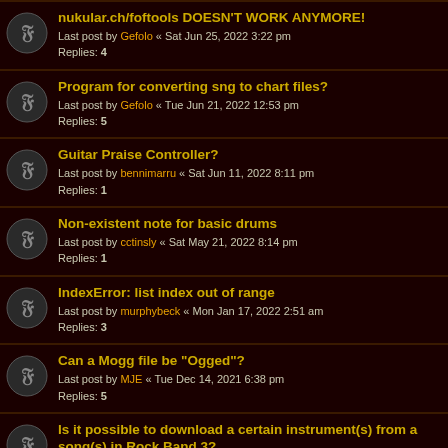nukular.ch/foftools DOESN'T WORK ANYMORE! — Last post by Gefolo « Sat Jun 25, 2022 3:22 pm — Replies: 4
Program for converting sng to chart files? — Last post by Gefolo « Tue Jun 21, 2022 12:53 pm — Replies: 5
Guitar Praise Controller? — Last post by bennimarru « Sat Jun 11, 2022 8:11 pm — Replies: 1
Non-existent note for basic drums — Last post by cctinsly « Sat May 21, 2022 8:14 pm — Replies: 1
IndexError: list index out of range — Last post by murphybeck « Mon Jan 17, 2022 2:51 am — Replies: 3
Can a Mogg file be "Ogged"? — Last post by MJE « Tue Dec 14, 2021 6:38 pm — Replies: 5
Is it possible to download a certain instrument(s) from a song(s) in Rock Band 3? — Last post by MJE « Wed Oct 27, 2021 10:00 pm — Replies: 6